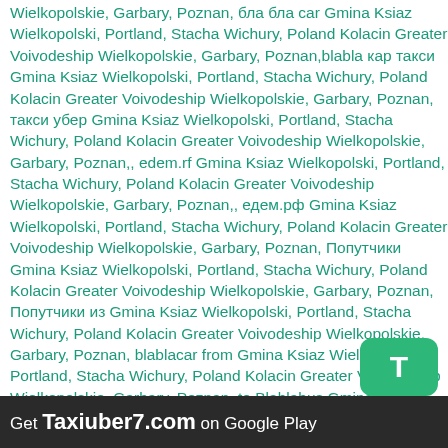Wielkopolskie, Garbary, Poznan, бла бла car Gmina Ksiaz Wielkopolski, Portland, Stacha Wichury, Poland Kolacin Greater Voivodeship Wielkopolskie, Garbary, Poznan,blabla кар такси Gmina Ksiaz Wielkopolski, Portland, Stacha Wichury, Poland Kolacin Greater Voivodeship Wielkopolskie, Garbary, Poznan, такси убер Gmina Ksiaz Wielkopolski, Portland, Stacha Wichury, Poland Kolacin Greater Voivodeship Wielkopolskie, Garbary, Poznan,, edem.rf Gmina Ksiaz Wielkopolski, Portland, Stacha Wichury, Poland Kolacin Greater Voivodeship Wielkopolskie, Garbary, Poznan,, едем.рф Gmina Ksiaz Wielkopolski, Portland, Stacha Wichury, Poland Kolacin Greater Voivodeship Wielkopolskie, Garbary, Poznan, Попутчики Gmina Ksiaz Wielkopolski, Portland, Stacha Wichury, Poland Kolacin Greater Voivodeship Wielkopolskie, Garbary, Poznan, Попутчики из Gmina Ksiaz Wielkopolski, Portland, Stacha Wichury, Poland Kolacin Greater Voivodeship Wielkopolskie, Garbary, Poznan, blablacar from Gmina Ksiaz Wielkopolski, Portland, Stacha Wichury, Poland Kolacin Greater Voivodeship Wielkopolskie, Garbary, Poznan, to Blablabus Gmina Ksiaz Wielkopolski, Portland, Stacha Wichury, Poland Kolacin Greater Voivodeship Wielkopolskie, Garbary, Poznan,, Blablataxi Gmina Ksiaz Wielkopolski, Portland, Stacha Wichury, Poland Kolacin Greater Voivodeship Wielkopolskie, Garbary, Poznan,, Bla bla taxi Gmina Ksiaz Wielkopolski, Portland, Stacha Wichury, Poland Kolacin Greater Voivodeship Wielkopolskie, Garbary, Poznan
[Figure (other): Green rounded square badge with white letter T]
Get Taxiuber7.com on Google Play